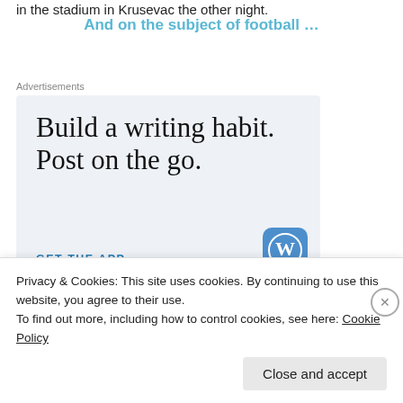in the stadium in Krusevac the other night.
And on the subject of football …
Advertisements
[Figure (illustration): WordPress advertisement: 'Build a writing habit. Post on the go.' with GET THE APP call to action and WordPress logo]
Privacy & Cookies: This site uses cookies. By continuing to use this website, you agree to their use.
To find out more, including how to control cookies, see here: Cookie Policy
Close and accept